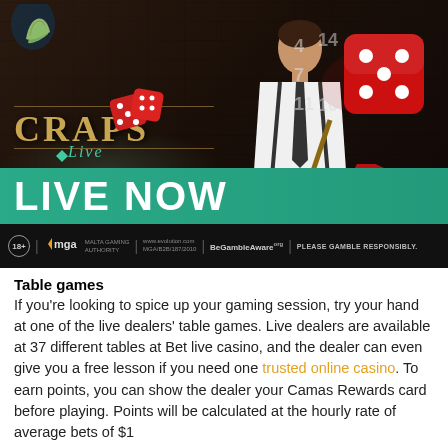[Figure (photo): Casino advertisement image for Craps Live game showing a male dealer in white shirt and suspenders holding a croupier stick at a craps table, with red dice flying through the air, CRAPS Live logo on the left, LIVE NOW text on a teal/green banner, and a regulatory footer bar with MGA, BeGambleAware, and PLEASE GAMBLE RESPONSIBLY text.]
Table games
If you're looking to spice up your gaming session, try your hand at one of the live dealers' table games. Live dealers are available at 37 different tables at Bet live casino, and the dealer can even give you a free lesson if you need one trusted online casino. To earn points, you can show the dealer your Camas Rewards card before playing. Points will be calculated at the hourly rate of average bets of $1